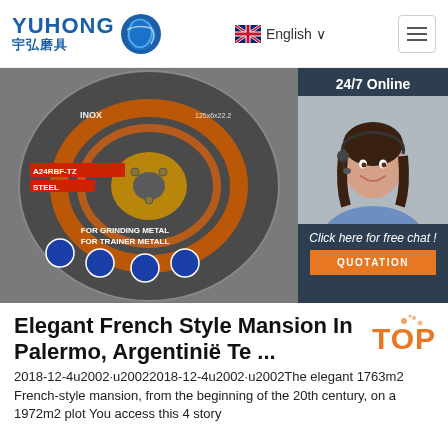[Figure (logo): Yuhong logo with blue text YUHONG and Chinese characters 宇弘磨具, blue wave/globe icon]
English ∨
[Figure (photo): Product photo of a grinding/cutting disc labeled INOX, A24RBF-TZ, STEEL, FOR GRINDING METAL FOR TRAINER METALL, 125x6x22.2, with safety icons. Overlaid with a 24/7 Online live chat widget showing a customer service agent.]
Elegant French Style Mansion In Palermo, Argentinië Te ...
2018-12-4u2002·u20022018-12-4u2002·u2002The elegant 1763m2 French-style mansion, from the beginning of the 20th century, on a 1972m2 plot You access this 4 story